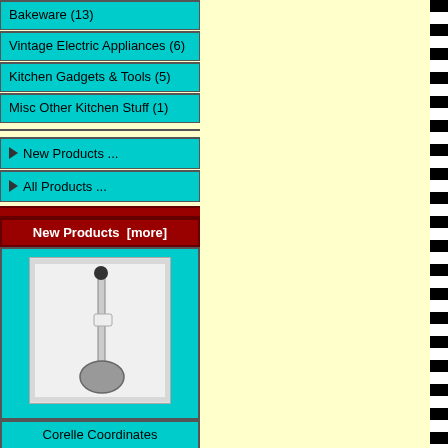Bakeware (13)
Vintage Electric Appliances (6)
Kitchen Gadgets & Tools (5)
Misc Other Kitchen Stuff (1)
▶ New Products ...
▶ All Products ...
New Products  [more]
[Figure (photo): Corelle Coordinates Corningware Calloway Pattern 1 C Soup Ladle product photo]
Corelle Coordinates Corningware Calloway Pattern 1 C Soup Ladle $9.95
Reviews  [more]
[Figure (illustration): Hand holding a pen/pencil illustration for writing a review]
Write a review on this product.